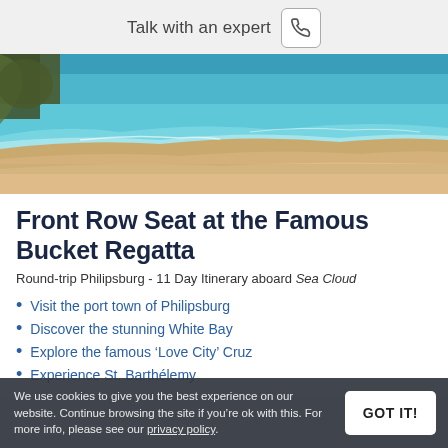Talk with an expert
[Figure (photo): Aerial/ground view of a sandy beach with turquoise ocean water and gentle waves]
Front Row Seat at the Famous Bucket Regatta
Round-trip Philipsburg - 11 Day Itinerary aboard Sea Cloud
Visit the port town of Philipsburg
Discover the stunning White Bay
Explore the famous ‘Love City’ Cruz
Experience St. Barthélemy
We use cookies to give you the best experience on our website. Continue browsing the site if you’re ok with this. For more info, please see our privacy policy.